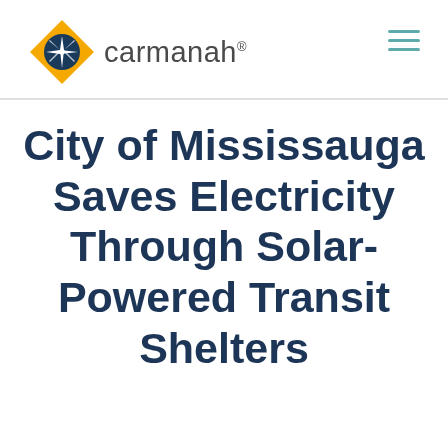[Figure (logo): Carmanah logo: yellow/gold diamond shape with dark blue circle and white starburst inside, followed by the word 'carmanah' with a registered trademark symbol]
City of Mississauga Saves Electricity Through Solar-Powered Transit Shelters